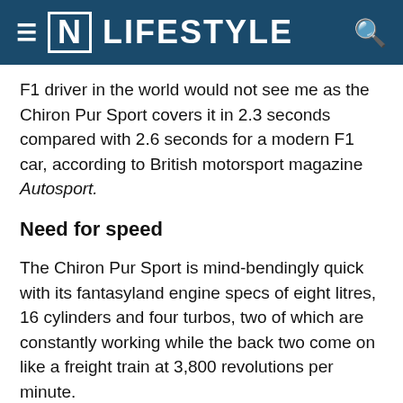[N] LIFESTYLE
F1 driver in the world would not see me as the Chiron Pur Sport covers it in 2.3 seconds compared with 2.6 seconds for a modern F1 car, according to British motorsport magazine Autosport.
Need for speed
The Chiron Pur Sport is mind-bendingly quick with its fantasyland engine specs of eight litres, 16 cylinders and four turbos, two of which are constantly working while the back two come on like a freight train at 3,800 revolutions per minute.
At this point, you are passing 200kph from